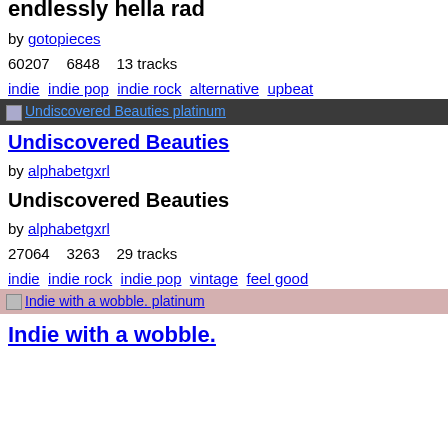endlessly hella rad
by gotopieces
60207    6848    13 tracks
indie  indie pop  indie rock  alternative  upbeat
[Figure (other): Banner image for Undiscovered Beauties platinum playlist with dark background]
Undiscovered Beauties
by alphabetgxrl
Undiscovered Beauties
by alphabetgxrl
27064    3263    29 tracks
indie  indie rock  indie pop  vintage  feel good
[Figure (other): Banner image for Indie with a wobble. platinum playlist with pink background]
Indie with a wobble.